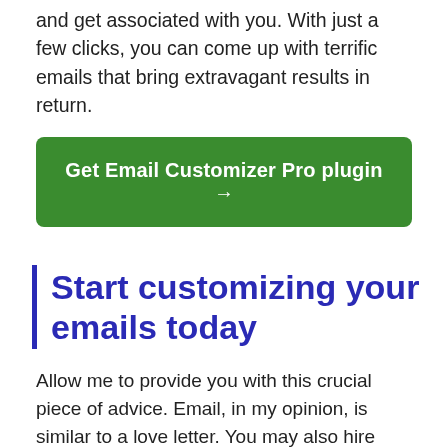and get associated with you. With just a few clicks, you can come up with terrific emails that bring extravagant results in return.
Get Email Customizer Pro plugin →
Start customizing your emails today
Allow me to provide you with this crucial piece of advice. Email, in my opinion, is similar to a love letter. You may also hire someone to design the newsletter for you or pick one of the unlimited design services to work for you.
We must allow our clients to feel the brand, perceive